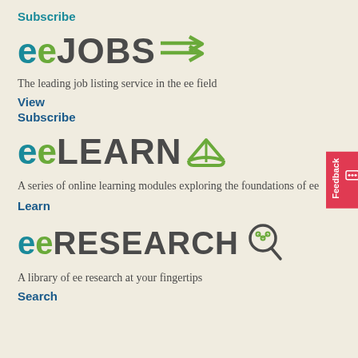Subscribe
[Figure (logo): eeJOBS logo with double arrow icon]
The leading job listing service in the ee field
View
Subscribe
[Figure (logo): eeLEARN logo with open book icon]
A series of online learning modules exploring the foundations of ee
Learn
[Figure (logo): eeRESEARCH logo with search/share icon]
A library of ee research at your fingertips
Search